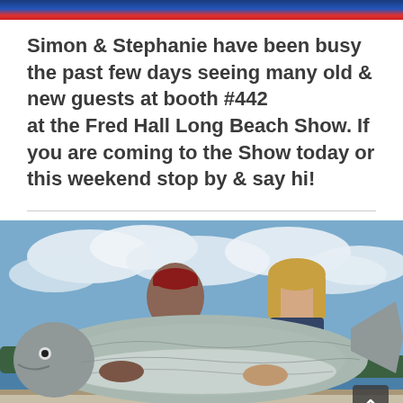[Figure (photo): Top banner strip with blue and red gradient, partial social media header]
Simon & Stephanie have been busy the past few days seeing many old & new guests at booth #442 at the Fred Hall Long Beach Show. If you are coming to the Show today or this weekend stop by & say hi!
[Figure (photo): A man and woman on a boat holding a very large salmon fish, with blue sky and clouds in the background]